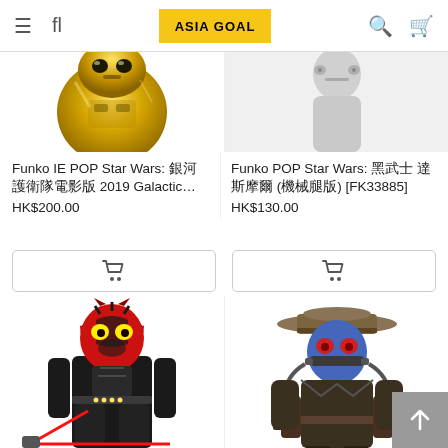ASIA GOAL
[Figure (photo): Funko POP Star Wars gold figure (C3PO style) - top portion of product image]
Funko IE POP Star Wars: 銀河護衛隊電影版 2019 Galactic…
HK$200.00
[Figure (photo): Funko POP Star Wars figure (grey/white) - top portion of product image]
Funko POP Star Wars: 黑武士 達斯摩爾 (機械腿版) [FK33885]
HK$130.00
[Figure (photo): Add to cart button (shopping cart icon) for left product]
[Figure (photo): Add to cart button (shopping cart icon) for right product]
[Figure (photo): Funko POP Star Wars: Darth Maul figure with red lightsaber - bottom left product]
[Figure (photo): Funko POP Star Wars: Cad Bane figure with hat and guns - bottom right product]